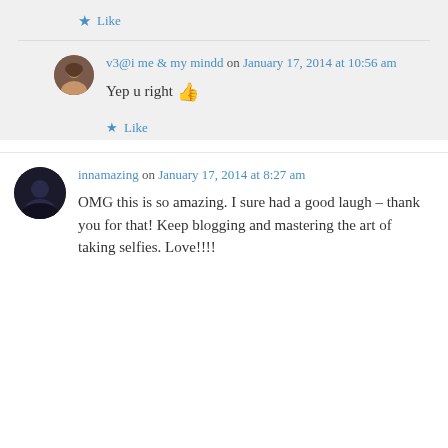Like
v3@i me & my mindd on January 17, 2014 at 10:56 am
Yep u right 👍
Like
innamazing on January 17, 2014 at 8:27 am
OMG this is so amazing. I sure had a good laugh – thank you for that! Keep blogging and mastering the art of taking selfies. Love!!!!